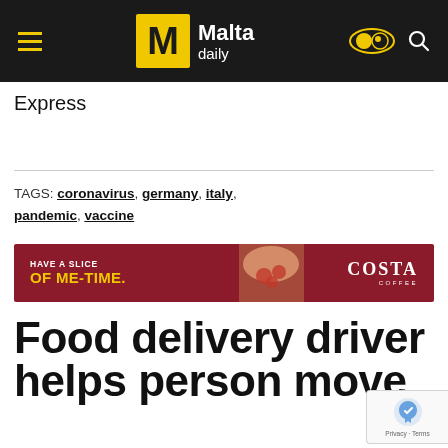Malta daily
Express
TAGS: coronavirus, germany, italy, pandemic, vaccine
[Figure (other): Costa Coffee advertisement banner: 'HAVE A SLICE OF ME-TIME.' with Costa Coffee logo on dark red background]
Food delivery driver helps person move